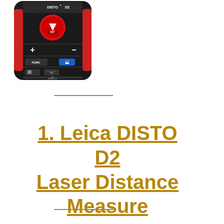[Figure (photo): Leica DISTO D2 laser distance measure device, black and red color, showing front face with ON/DIST button, +/- buttons, FUNC and Bluetooth button, measurement buttons, and CLEAR/OFF button]
1. Leica DISTO D2 Laser Distance Measure